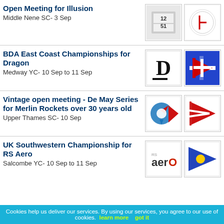Open Meeting for Illusion
Middle Nene SC- 3 Sep
BDA East Coast Championships for Dragon
Medway YC- 10 Sep to 11 Sep
Vintage open meeting - De May Series for Merlin Rockets over 30 years old
Upper Thames SC- 10 Sep
UK Southwestern Championship for RS Aero
Salcombe YC- 10 Sep to 11 Sep
Cookies help us deliver our services. By using our services, you agree to our use of cookies. learn more   got it